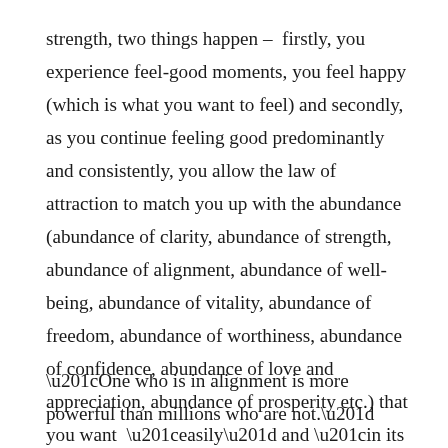strength, two things happen – firstly, you experience feel-good moments, you feel happy (which is what you want to feel) and secondly, as you continue feeling good predominantly and consistently, you allow the law of attraction to match you up with the abundance (abundance of clarity, abundance of strength, abundance of alignment, abundance of well-being, abundance of vitality, abundance of freedom, abundance of worthiness, abundance of confidence, abundance of love and appreciation, abundance of prosperity etc.) that you want “easily” and “in its full potential”.
“One who is in alignment is more powerful than millions who are not.”